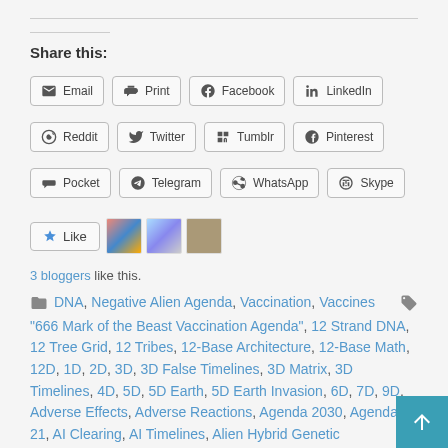Share this:
Email | Print | Facebook | LinkedIn
Reddit | Twitter | Tumblr | Pinterest
Pocket | Telegram | WhatsApp | Skype
Like (with blogger avatars)
3 bloggers like this.
DNA, Negative Alien Agenda, Vaccination, Vaccines "666 Mark of the Beast Vaccination Agenda", 12 Strand DNA, 12 Tree Grid, 12 Tribes, 12-Base Architecture, 12-Base Math, 12D, 1D, 2D, 3D, 3D False Timelines, 3D Matrix, 3D Timelines, 4D, 5D, 5D Earth, 5D Earth Invasion, 6D, 7D, 9D, Adverse Effects, Adverse Reactions, Agenda 2030, Agenda 21, AI Clearing, AI Timelines, Alien Hybrid Genetic Engineering, Alien Invasion, Alien Machinery, Alpha Draconis, Alpha Draconis/Orion Group Agenda, Aluminum, Aluminum